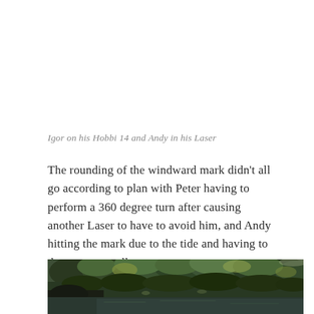Igor on his Hobbi 14 and Andy in his Laser
The rounding of the windward mark didn’t all go according to plan with Peter having to perform a 360 degree turn after causing another Laser to have to avoid him, and Andy hitting the mark due to the tide and having to do a turn as well.
[Figure (photo): Outdoor scene showing dense green trees and shrubs along a waterfront, with water visible at the bottom of the frame. The image is dark and naturalistic.]